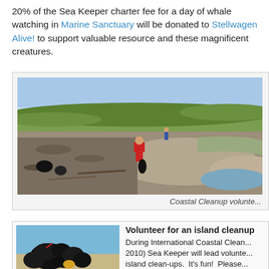20% of the Sea Keeper charter fee for a day of whale watching in Marine Sanctuary will be donated to Stellwagen Alive! to support valuable resource and these magnificent creatures.
[Figure (photo): Beach cleanup scene showing a person in a red jacket carrying a black trash bag along a rocky shoreline with grassy dunes in the background]
Coastal Cleanup volunte...
[Figure (photo): Pile of black trash bags collected during a coastal cleanup on a sandy beach]
Volunteer for an island cleanup
During International Coastal Clean... 2010) Sea Keeper will lead volunte... island clean-ups. It's fun! Please...